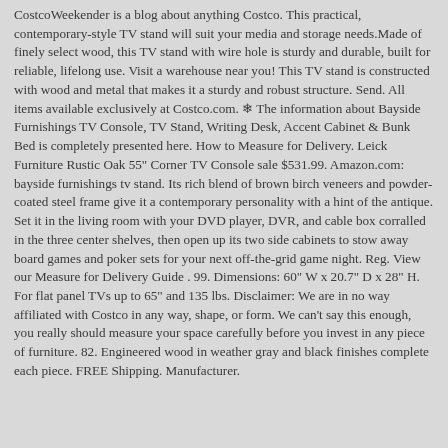CostcoWeekender is a blog about anything Costco. This practical, contemporary-style TV stand will suit your media and storage needs.Made of finely select wood, this TV stand with wire hole is sturdy and durable, built for reliable, lifelong use. Visit a warehouse near you! This TV stand is constructed with wood and metal that makes it a sturdy and robust structure. Send. All items available exclusively at Costco.com. ❄ The information about Bayside Furnishings TV Console, TV Stand, Writing Desk, Accent Cabinet & Bunk Bed is completely presented here. How to Measure for Delivery. Leick Furniture Rustic Oak 55" Corner TV Console sale $531.99. Amazon.com: bayside furnishings tv stand. Its rich blend of brown birch veneers and powder-coated steel frame give it a contemporary personality with a hint of the antique. Set it in the living room with your DVD player, DVR, and cable box corralled in the three center shelves, then open up its two side cabinets to stow away board games and poker sets for your next off-the-grid game night. Reg. View our Measure for Delivery Guide . 99. Dimensions: 60" W x 20.7" D x 28" H. For flat panel TVs up to 65" and 135 lbs. Disclaimer: We are in no way affiliated with Costco in any way, shape, or form. We can't say this enough, you really should measure your space carefully before you invest in any piece of furniture. 82. Engineered wood in weather gray and black finishes complete each piece. FREE Shipping. Manufacturer.